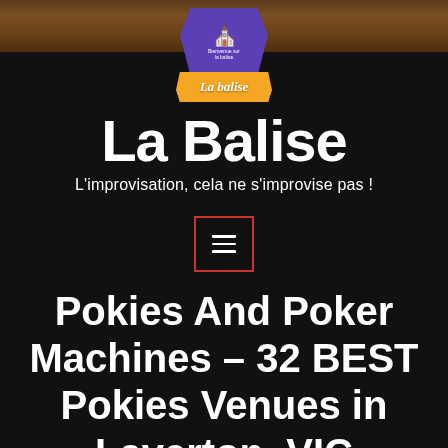[Figure (logo): La Balise logo: purple hexagonal badge with church/building icon and small text, with orange ribbon banner reading 'La balise']
La Balise
L'improvisation, cela ne s'improvise pas !
[Figure (other): Hamburger menu button with red border outline and three horizontal white lines]
Pokies And Poker Machines – 32 BEST Pokies Venues in Laverton, VIC